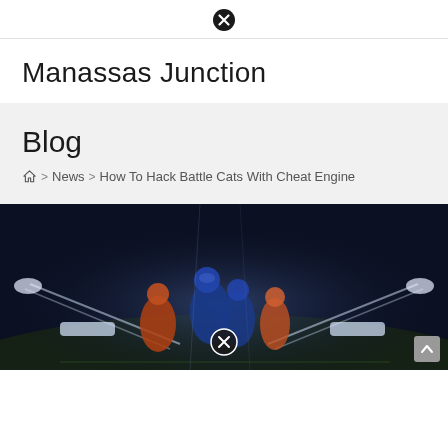✕ (close button icon)
Manassas Junction
Blog
🏠 > News > How To Hack Battle Cats With Cheat Engine
[Figure (photo): Football players in action on a dramatic stadium field with bright lights and dark blue smoky background. Players in blue and orange uniforms colliding. A close button (✕) overlaid at bottom center. A scroll-up button at bottom right.]